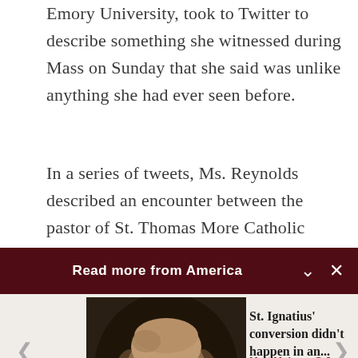Emory University, took to Twitter to describe something she witnessed during Mass on Sunday that she said was unlike anything she had ever seen before.
In a series of tweets, Ms. Reynolds described an encounter between the pastor of St. Thomas More Catholic Church and a father at Mass with
Read more from America
[Figure (photo): Portrait painting of St. Ignatius of Loyola, a bald man with beard wearing dark clerical clothing, shown from shoulders up against a dark background]
St. Ignatius' conversion didn't happen in an...
Matt Malone, S.J.